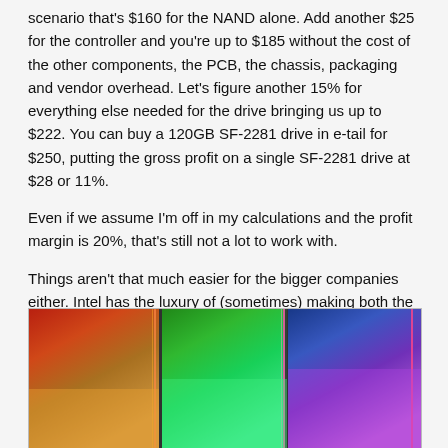scenario that's $160 for the NAND alone. Add another $25 for the controller and you're up to $185 without the cost of the other components, the PCB, the chassis, packaging and vendor overhead. Let's figure another 15% for everything else needed for the drive bringing us up to $222. You can buy a 120GB SF-2281 drive in e-tail for $250, putting the gross profit on a single SF-2281 drive at $28 or 11%.
Even if we assume I'm off in my calculations and the profit margin is 20%, that's still not a lot to work with.
Things aren't that much easier for the bigger companies either. Intel has the luxury of (sometimes) making both the controller and the NAND. But the amount of NAND you need for a single 120GB drive is huge. Let's do the math.
[Figure (photo): Close-up photograph of NAND flash memory chips showing colorful light interference patterns on the chip surfaces, arranged in a row.]